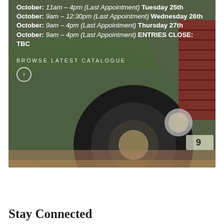[Figure (photo): Classic vintage car (green body, red radiator grille) photographed from low angle showing front wheel and hood, with white overlay text listing appointment times and entries close information, and a 'Browse Latest Catalogue' link with a circular arrow button.]
October: 11am – 4pm (Last Appointment) Tuesday 25th October: 9am – 12:30pm (Last Appointment) Wednesday 26th October: 9am – 4pm (Last Appointment) Thursday 27th October: 9am – 4pm (Last Appointment) ENTRIES CLOSE: TBC
BROWSE LATEST CATALOGUE
Stay Connected